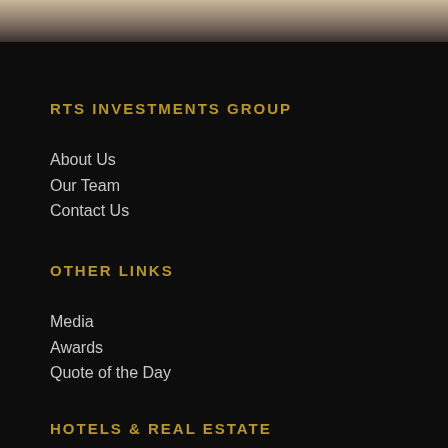[Figure (photo): Top strip showing a blurred/faded photo or background image in beige/tan tones]
RTS INVESTMENTS GROUP
About Us
Our Team
Contact Us
OTHER LINKS
Media
Awards
Quote of the Day
HOTELS & REAL ESTATE
Grand Millennium Dubai
Grand Millennium Business Bay
Gulf American Company